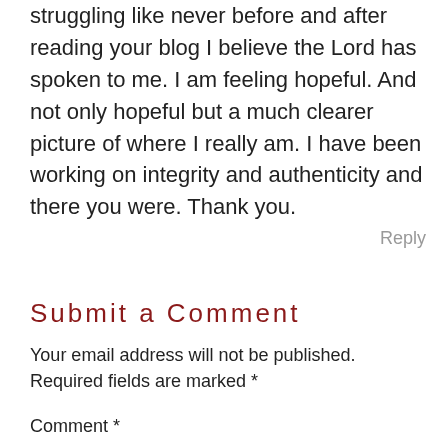struggling like never before and after reading your blog I believe the Lord has spoken to me. I am feeling hopeful. And not only hopeful but a much clearer picture of where I really am. I have been working on integrity and authenticity and there you were. Thank you.
Reply
Submit a Comment
Your email address will not be published. Required fields are marked *
Comment *